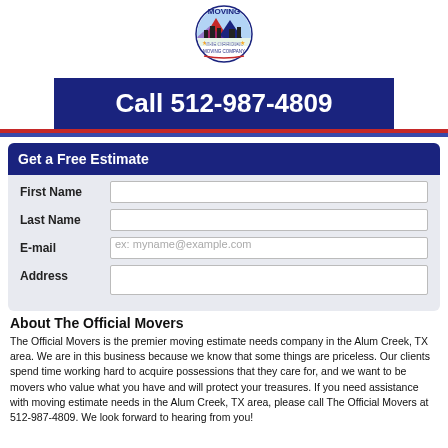[Figure (logo): Moving company logo with mountain/cityscape graphic, text 'MOVING THE OFFICIAL MOVING COMPANY']
Call 512-987-4809
Get a Free Estimate
First Name [input field]
Last Name [input field]
E-mail [input field with placeholder: ex: myname@example.com]
Address [input field]
About The Official Movers
The Official Movers is the premier moving estimate needs company in the Alum Creek, TX area. We are in this business because we know that some things are priceless. Our clients spend time working hard to acquire possessions that they care for, and we want to be movers who value what you have and will protect your treasures. If you need assistance with moving estimate needs in the Alum Creek, TX area, please call The Official Movers at 512-987-4809. We look forward to hearing from you!